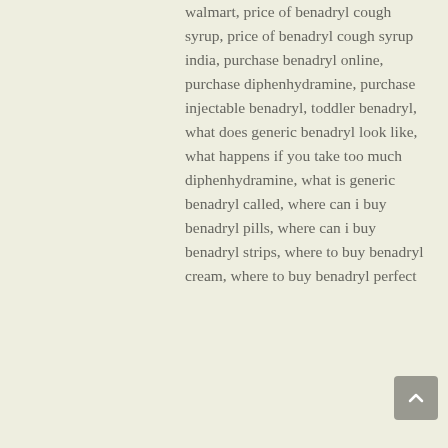walmart, price of benadryl cough syrup, price of benadryl cough syrup india, purchase benadryl online, purchase diphenhydramine, purchase injectable benadryl, toddler benadryl, what does generic benadryl look like, what happens if you take too much diphenhydramine, what is generic benadryl called, where can i buy benadryl pills, where can i buy benadryl strips, where to buy benadryl cream, where to buy benadryl perfect